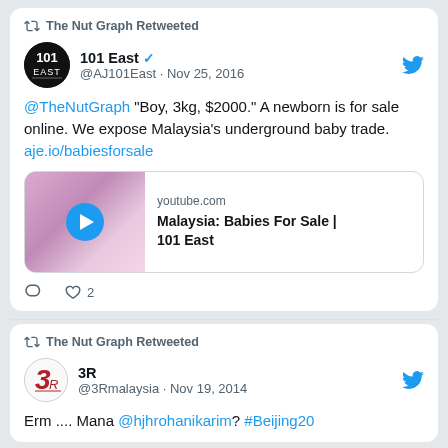[Figure (screenshot): Twitter/X screenshot showing two retweets by The Nut Graph. First tweet by 101 East (@AJ101East, Nov 25 2016) with text about baby trade in Malaysia and a YouTube video card. Second tweet by 3R (@3Rmalaysia, Nov 19 2014) with text mentioning @hjhrohanikarim and #Beijing20.]
The Nut Graph Retweeted
101 East @AJ101East · Nov 25, 2016
@TheNutGraph "Boy, 3kg, $2000." A newborn is for sale online. We expose Malaysia's underground baby trade. aje.io/babiesforsale
youtube.com Malaysia: Babies For Sale | 101 East
The Nut Graph Retweeted
3R @3Rmalaysia · Nov 19, 2014
Erm .... Mana @hjhrohanikarim? #Beijing20